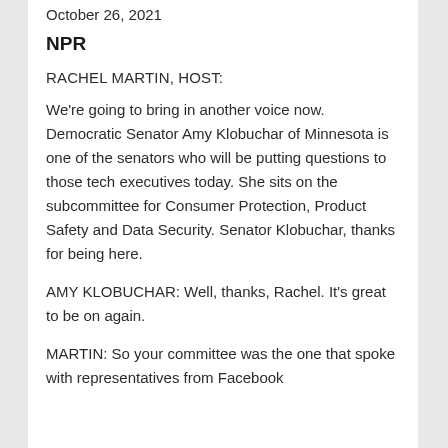October 26, 2021
NPR
RACHEL MARTIN, HOST:
We're going to bring in another voice now. Democratic Senator Amy Klobuchar of Minnesota is one of the senators who will be putting questions to those tech executives today. She sits on the subcommittee for Consumer Protection, Product Safety and Data Security. Senator Klobuchar, thanks for being here.
AMY KLOBUCHAR: Well, thanks, Rachel. It's great to be on again.
MARTIN: So your committee was the one that spoke with representatives from Facebook